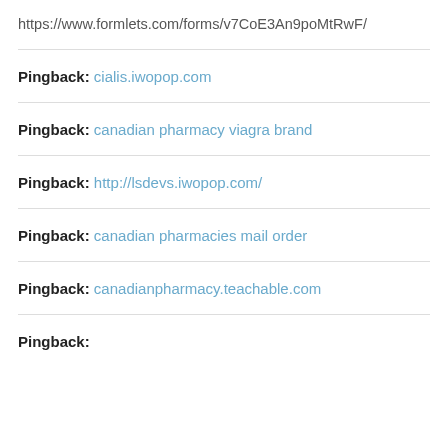https://www.formlets.com/forms/v7CoE3An9poMtRwF/
Pingback: cialis.iwopop.com
Pingback: canadian pharmacy viagra brand
Pingback: http://lsdevs.iwopop.com/
Pingback: canadian pharmacies mail order
Pingback: canadianpharmacy.teachable.com
Pingback: [partial, cut off]